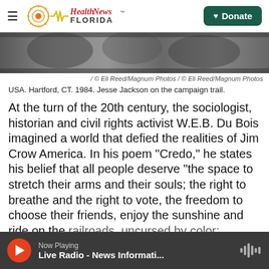Health News Florida — Donate
[Figure (photo): Black and white photo strip showing Jesse Jackson on the campaign trail]
/ © Eli Reed/Magnum Photos / © Eli Reed/Magnum Photos
USA. Hartford, CT. 1984. Jesse Jackson on the campaign trail.
At the turn of the 20th century, the sociologist, historian and civil rights activist W.E.B. Du Bois imagined a world that defied the realities of Jim Crow America. In his poem "Credo," he states his belief that all people deserve "the space to stretch their arms and their souls; the right to breathe and the right to vote, the freedom to choose their friends, enjoy the sunshine and ride on the railroads, uncursed by color; thinking, dreaming
Now Playing — Live Radio - News Informati...